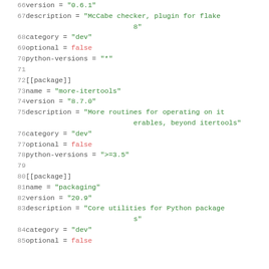Code block showing TOML package definitions, lines 66-85
66: version = "0.6.1"
67: description = "McCabe checker, plugin for flake8"
68: category = "dev"
69: optional = false
70: python-versions = "*"
71: (blank)
72: [[package]]
73: name = "more-itertools"
74: version = "8.7.0"
75: description = "More routines for operating on iterables, beyond itertools"
76: category = "dev"
77: optional = false
78: python-versions = ">=3.5"
79: (blank)
80: [[package]]
81: name = "packaging"
82: version = "20.9"
83: description = "Core utilities for Python packages"
84: category = "dev"
85: optional = false